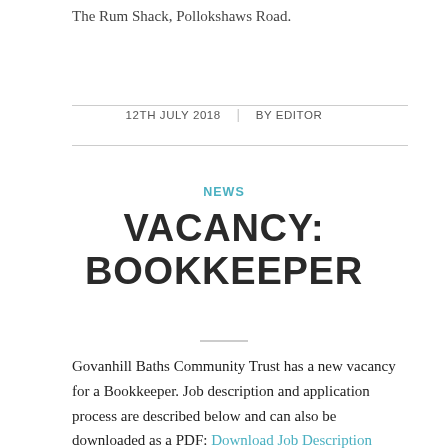The Rum Shack, Pollokshaws Road.
12TH JULY 2018 | BY EDITOR
NEWS
VACANCY: BOOKKEEPER
Govanhill Baths Community Trust has a new vacancy for a Bookkeeper. Job description and application process are described below and can also be downloaded as a PDF: Download Job Description